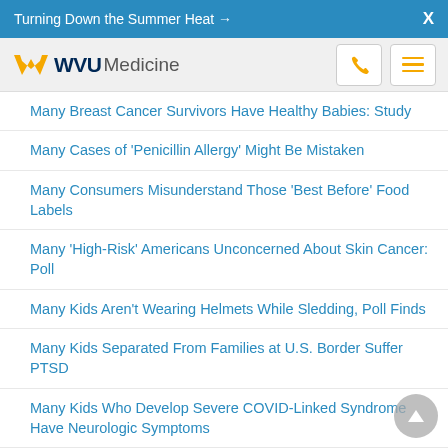Turning Down the Summer Heat →  X
[Figure (logo): WVU Medicine logo with flying WV monogram in gold and dark blue, phone icon button and hamburger menu button]
Many Breast Cancer Survivors Have Healthy Babies: Study
Many Cases of 'Penicillin Allergy' Might Be Mistaken
Many Consumers Misunderstand Those 'Best Before' Food Labels
Many 'High-Risk' Americans Unconcerned About Skin Cancer: Poll
Many Kids Aren't Wearing Helmets While Sledding, Poll Finds
Many Kids Separated From Families at U.S. Border Suffer PTSD
Many Kids Who Develop Severe COVID-Linked Syndrome Have Neurologic Symptoms
Many Kids With Asthma Are Unprepared for Adult Asthma Care
Many Marijuana Vendors Aim Advertising at Kids: Study
Many Overweight Kids Already Have Hardened Arteries, Diabetes